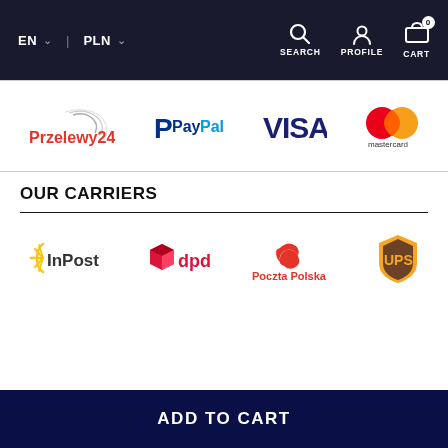EN  PLN  SEARCH  PROFILE  CART
[Figure (logo): Payment method logos: Przelewy24, PayPal, VISA, Mastercard]
OUR CARRIERS
[Figure (logo): Carrier logos: InPost, dpd, Poczta Polska, UPS]
ADD TO CART